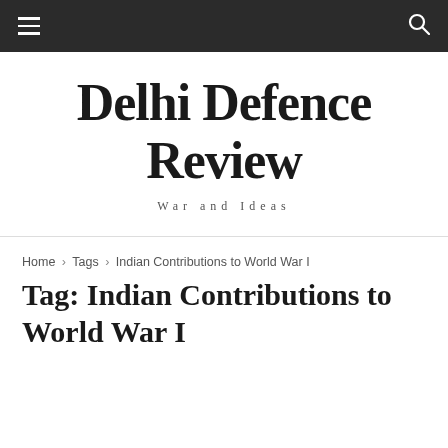Delhi Defence Review — navigation bar with menu and search icons
Delhi Defence Review
War and Ideas
Home › Tags › Indian Contributions to World War I
Tag: Indian Contributions to World War I